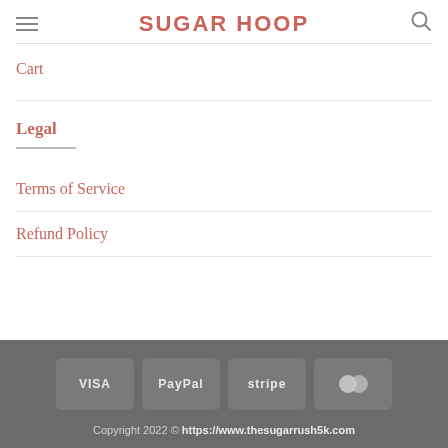SUGAR HOOP
Cart
Legal
Terms of Service
Refund Policy
Copyright 2022 © https://www.thesugarrush5k.com